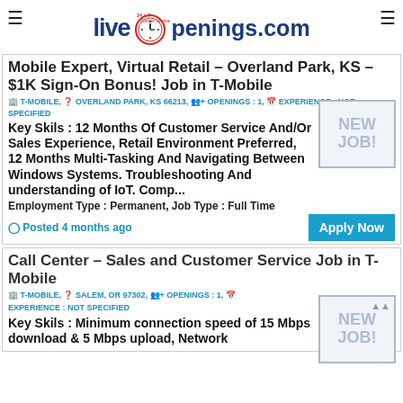LiveOpenings.com
Mobile Expert, Virtual Retail – Overland Park, KS – $1K Sign-On Bonus! Job in T-Mobile
T-MOBILE, OVERLAND PARK, KS 66213, OPENINGS : 1, EXPERIENCE : NOT SPECIFIED
Key Skils : 12 Months Of Customer Service And/Or Sales Experience, Retail Environment Preferred, 12 Months Multi-Tasking And Navigating Between Windows Systems. Troubleshooting And understanding of IoT. Comp...
Employment Type : Permanent, Job Type : Full Time
Posted 4 months ago
Call Center – Sales and Customer Service Job in T-Mobile
T-MOBILE, SALEM, OR 97302, OPENINGS : 1, EXPERIENCE : NOT SPECIFIED
Key Skils : Minimum connection speed of 15 Mbps download & 5 Mbps upload, Network